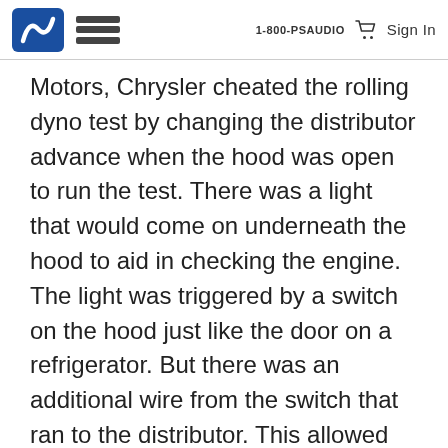1-800-PSAUDIO  Sign In
Motors, Chrysler cheated the rolling dyno test by changing the distributor advance when the hood was open to run the test. There was a light that would come on underneath the hood to aid in checking the engine. The light was triggered by a switch on the hood just like the door on a refrigerator. But there was an additional wire from the switch that ran to the distributor. This allowed the car to meet the emission requirements when the hood was open, but not perform like a dog